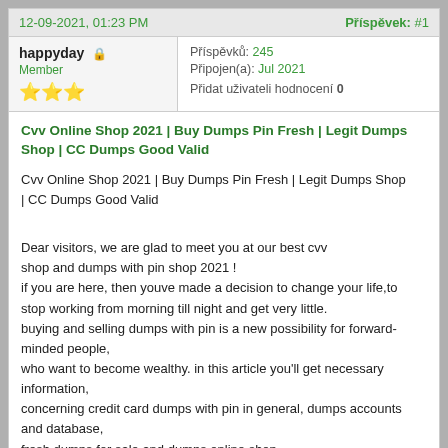12-09-2021, 01:23 PM    Příspěvek: #1
happyday  Member ⭐⭐⭐   Příspěvků: 245  Připojen(a): Jul 2021  Přidat uživateli hodnocení 0
Cvv Online Shop 2021 | Buy Dumps Pin Fresh | Legit Dumps Shop | CC Dumps Good Valid
Cvv Online Shop 2021 | Buy Dumps Pin Fresh | Legit Dumps Shop | CC Dumps Good Valid

Dear visitors, we are glad to meet you at our best cvv shop and dumps with pin shop 2021 !
if you are here, then youve made a decision to change your life,to stop working from morning till night and get very little.
buying and selling dumps with pin is a new possibility for forward-minded people,
who want to become wealthy. in this article you'll get necessary information,
concerning credit card dumps with pin in general, dumps accounts and database,
fresh dumps for sale and dumps online shop.

My Website : https://world-dumps.com/